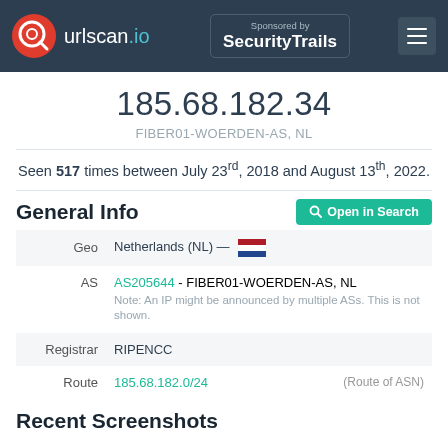urlscan.io — Sponsored by SecurityTrails
185.68.182.34
FIBER01-WOERDEN-AS, NL
Seen 517 times between July 23rd, 2018 and August 13th, 2022.
General Info
| Field | Value |
| --- | --- |
| Geo | Netherlands (NL) — 🇳🇱 |
| AS | AS205644 - FIBER01-WOERDEN-AS, NL
Note: An IP might be announced by multiple ASs. This is not shown. |
| Registrar | RIPENCC |
| Route | 185.68.182.0/24   (Route of ASN) |
Recent Screenshots